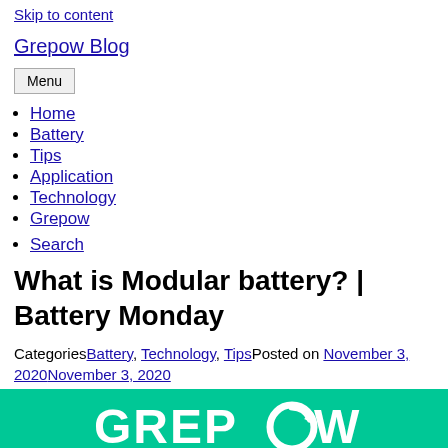Skip to content
Grepow Blog
Menu
Home
Battery
Tips
Application
Technology
Grepow
Search
What is Modular battery? | Battery Monday
CategoriesBattery, Technology, TipsPosted on November 3, 2020November 3, 2020
[Figure (logo): Grepow logo on green background]